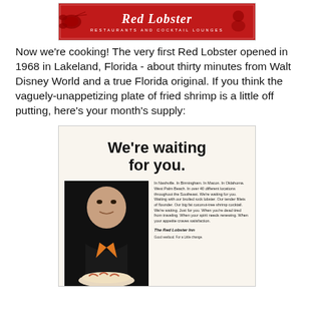[Figure (logo): Red Lobster Restaurants and Cocktail Lounges banner logo on red background with lobster illustration and script lettering]
Now we're cooking! The very first Red Lobster opened in 1968 in Lakeland, Florida - about thirty minutes from Walt Disney World and a true Florida original. If you think the vaguely-unappetizing plate of fried shrimp is a little off putting, here's your month's supply:
[Figure (photo): Vintage Red Lobster advertisement showing a man's face with the headline 'We're waiting for you.' and body copy about Red Lobster Inn locations throughout the Southeast. Includes The Red Lobster Inn branding.]